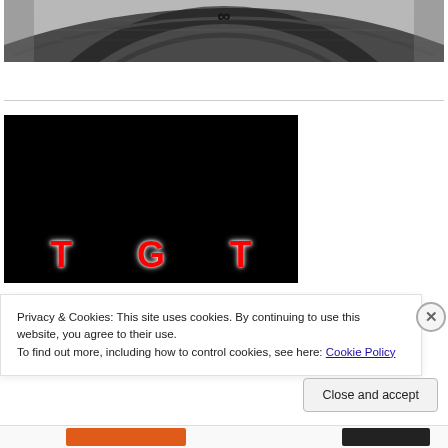[Figure (photo): Black and white image of a watch or clock face, showing the upper portion with an infinity symbol visible]
[Figure (screenshot): Black video thumbnail with large red glowing letters T, G, T spaced across the bottom]
Privacy & Cookies: This site uses cookies. By continuing to use this website, you agree to their use.
To find out more, including how to control cookies, see here: Cookie Policy
Close and accept